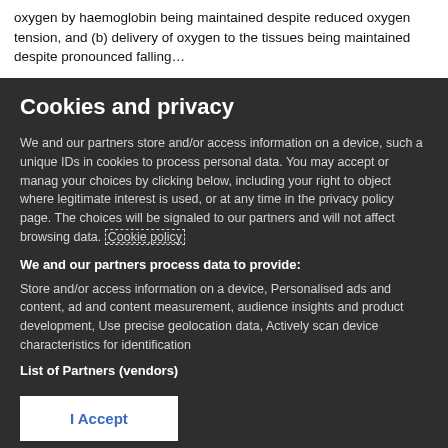oxygen by haemoglobin being maintained despite reduced oxygen tension, and (b) delivery of oxygen to the tissues being maintained despite pronounced falling…
Cookies and privacy
We and our partners store and/or access information on a device, such as unique IDs in cookies to process personal data. You may accept or manage your choices by clicking below, including your right to object where legitimate interest is used, or at any time in the privacy policy page. These choices will be signaled to our partners and will not affect browsing data. Cookie policy
We and our partners process data to provide:
Store and/or access information on a device, Personalised ads and content, ad and content measurement, audience insights and product development, Use precise geolocation data, Actively scan device characteristics for identification
List of Partners (vendors)
I Accept